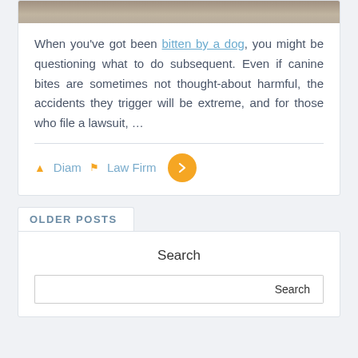[Figure (photo): Partial image of a dog at the top of the card, cropped]
When you've got been bitten by a dog, you might be questioning what to do subsequent. Even if canine bites are sometimes not thought-about harmful, the accidents they trigger will be extreme, and for those who file a lawsuit, …
Diam  Law Firm
OLDER POSTS
Search